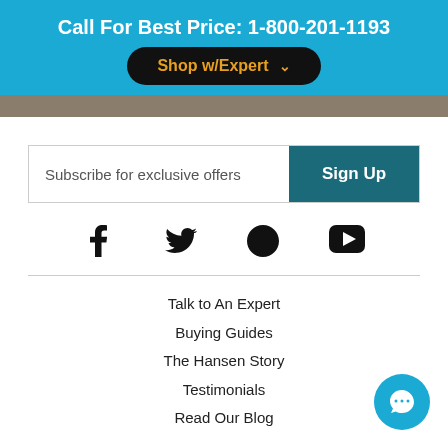Call For Best Price: 1-800-201-1193
Shop w/Expert
Subscribe for exclusive offers
Sign Up
[Figure (infographic): Social media icons: Facebook, Twitter, Pinterest, YouTube]
Talk to An Expert
Buying Guides
The Hansen Story
Testimonials
Read Our Blog